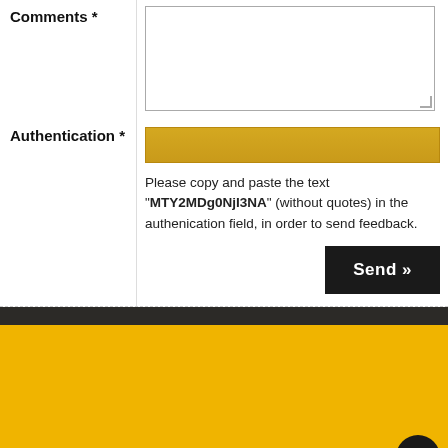Comments *
Authentication *
Please copy and paste the text "MTY2MDg0NjI3NA" (without quotes) in the authenication field, in order to send feedback.
Send »